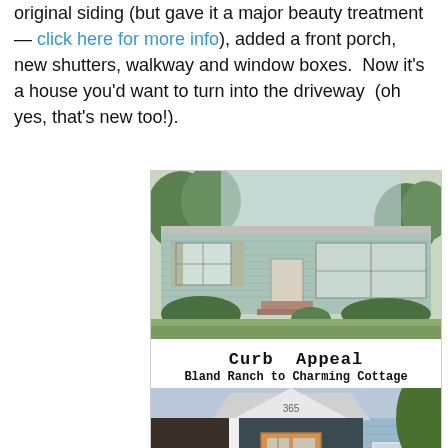original siding (but gave it a major beauty treatment — click here for more info), added a front porch, new shutters, walkway and window boxes.  Now it's a house you'd want to turn into the driveway  (oh yes, that's new too!).
[Figure (photo): Composite image showing before and after of a house exterior renovation. Top photo shows a plain light blue ranch-style house. Bottom shows the same house transformed into a charming cottage with a front porch, wood door, white trim, and window boxes. Text overlay reads 'Curb Appeal / Bland Ranch to Charming Cottage'.]